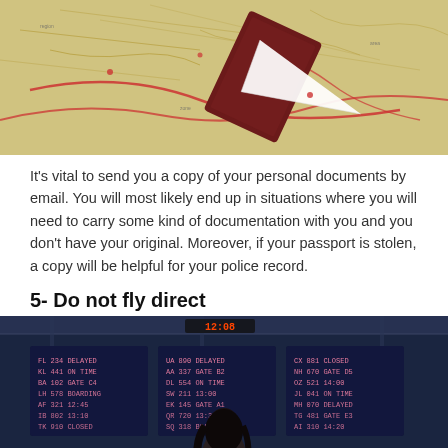[Figure (photo): A passport and paper airplane resting on a map]
It's vital to send you a copy of your personal documents by email. You will most likely end up in situations where you will need to carry some kind of documentation with you and you don't have your original. Moreover, if your passport is stolen, a copy will be helpful for your police record.
5- Do not fly direct
[Figure (photo): A woman standing in front of an airport departure board displaying flight information, at JCDecaux Airport]